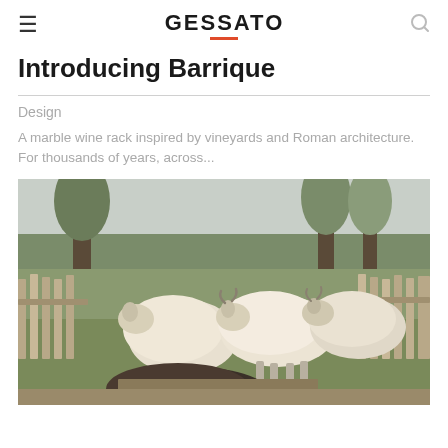GESSATO
Introducing Barrique
Design
A marble wine rack inspired by vineyards and Roman architecture. For thousands of years, across...
[Figure (photo): Three woolly sheep standing in a fenced farmyard area with wooden picket fence and trees in the background. One dark sheep visible in the foreground bottom.]